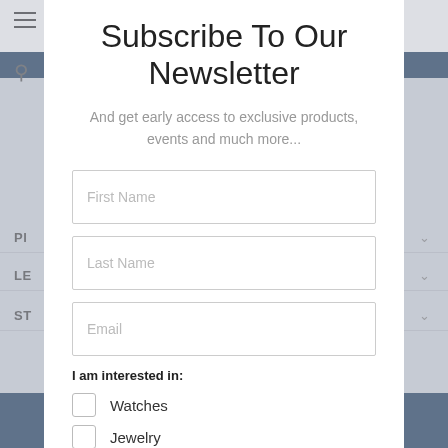Subscribe To Our Newsletter
And get early access to exclusive products, events and much more...
First Name
Last Name
Email
I am interested in:
Watches
Jewelry